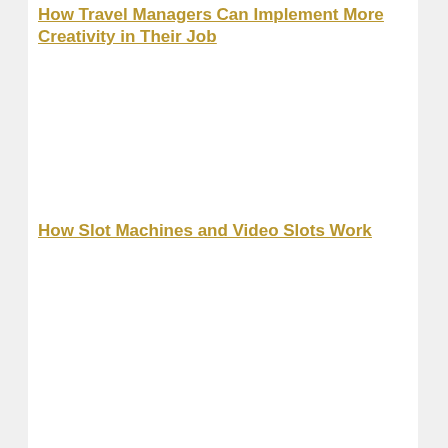How Travel Managers Can Implement More Creativity in Their Job
How Slot Machines and Video Slots Work